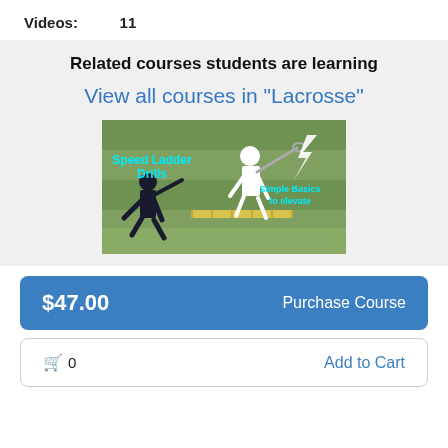Videos: 11
Related courses students are learning
View all courses in "Lacrosse"
[Figure (photo): Course thumbnail showing a lacrosse/speed ladder drills image with text 'Speed Ladder Drills' and 'Simple Basics to elevate' overlaid on a photo of a player on a sports field]
$47.00  Purchase Course
0  Add to Cart